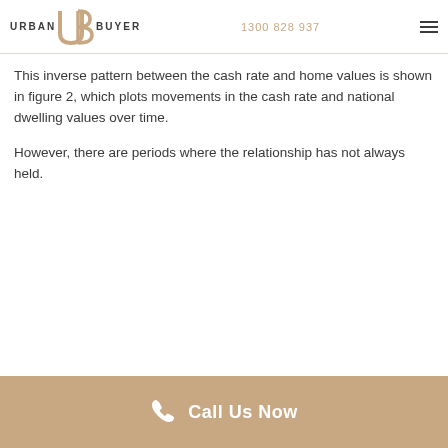URBAN BUYER  1300 828 937
This inverse pattern between the cash rate and home values is shown in figure 2, which plots movements in the cash rate and national dwelling values over time.
However, there are periods where the relationship has not always held.
Call Us Now